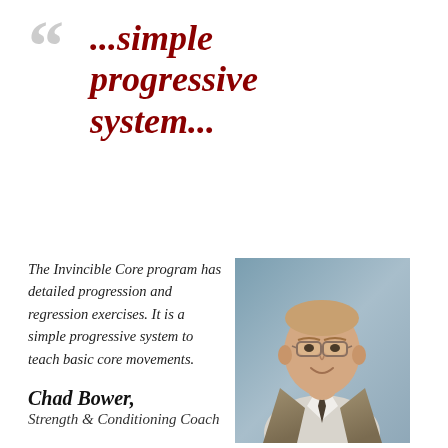““
...simple progressive system...
The Invincible Core program has detailed progression and regression exercises. It is a simple progressive system to teach basic core movements.
[Figure (photo): Headshot photo of Chad Bower, a man in a suit and tie with glasses, smiling.]
Chad Bower, Strength & Conditioning Coach